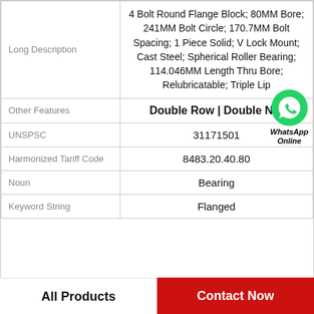| Field | Value |
| --- | --- |
| Long Description | 4 Bolt Round Flange Block; 80MM Bore; 241MM Bolt Circle; 170.7MM Bolt Spacing; 1 Piece Solid; V Lock Mount; Cast Steel; Spherical Roller Bearing; 114.046MM Length Thru Bore; Relubricatable; Triple Lip |
| Other Features | Double Row | Double Nut |
| UNSPSC | 31171501 |
| Harmonized Tariff Code | 8483.20.40.80 |
| Noun | Bearing |
| Keyword String | Flanged |
All Products   Contact Now